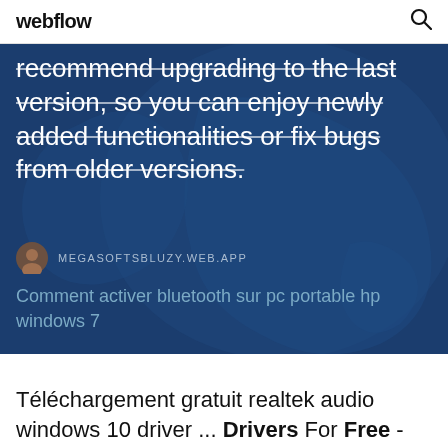webflow
[Figure (screenshot): Hero section with dark blue background and world map silhouette, containing text about upgrading to the last version]
recommend upgrading to the last version, so you can enjoy newly added functionalities or fix bugs from older versions.
MEGASOFTSBLUZY.WEB.APP
Comment activer bluetooth sur pc portable hp windows 7
Téléchargement gratuit realtek audio windows 10 driver ... Drivers For Free -